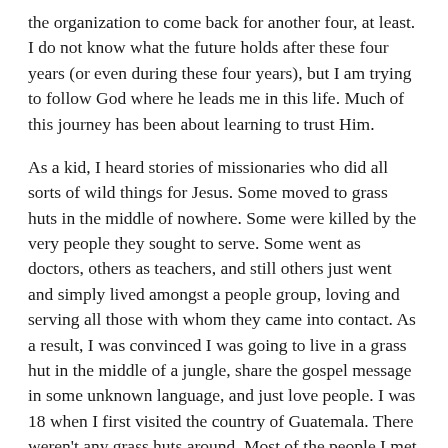the organization to come back for another four, at least. I do not know what the future holds after these four years (or even during these four years), but I am trying to follow God where he leads me in this life. Much of this journey has been about learning to trust Him.
As a kid, I heard stories of missionaries who did all sorts of wild things for Jesus. Some moved to grass huts in the middle of nowhere. Some were killed by the very people they sought to serve. Some went as doctors, others as teachers, and still others just went and simply lived amongst a people group, loving and serving all those with whom they came into contact. As a result, I was convinced I was going to live in a grass hut in the middle of a jungle, share the gospel message in some unknown language, and just love people. I was 18 when I first visited the country of Guatemala. There weren't any grass huts around. Most of the people I met spoke Spanish and I wasn't scared for my life. Nonetheless, over the course of the next few years, I fell in love with Guatemala. I learned Spanish, I became trained as a therapist and I realized